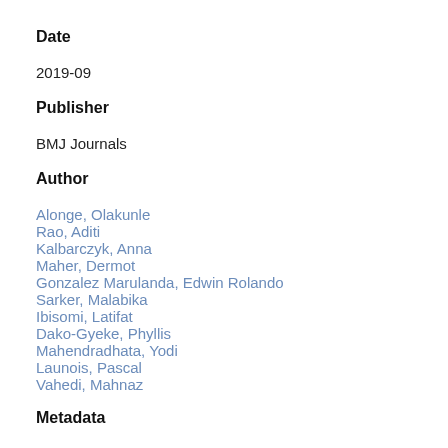Date
2019-09
Publisher
BMJ Journals
Author
Alonge, Olakunle
Rao, Aditi
Kalbarczyk, Anna
Maher, Dermot
Gonzalez Marulanda, Edwin Rolando
Sarker, Malabika
Ibisomi, Latifat
Dako-Gyeke, Phyllis
Mahendradhata, Yodi
Launois, Pascal
Vahedi, Mahnaz
Metadata
Show full item record